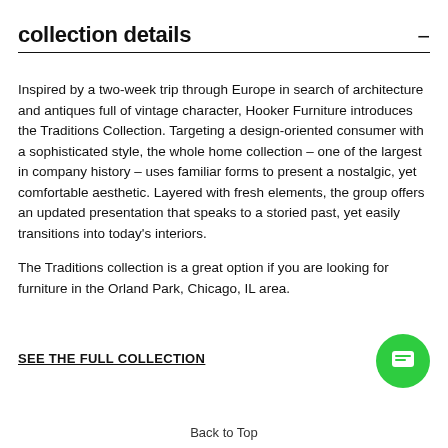collection details
Inspired by a two-week trip through Europe in search of architecture and antiques full of vintage character, Hooker Furniture introduces the Traditions Collection. Targeting a design-oriented consumer with a sophisticated style, the whole home collection – one of the largest in company history – uses familiar forms to present a nostalgic, yet comfortable aesthetic. Layered with fresh elements, the group offers an updated presentation that speaks to a storied past, yet easily transitions into today's interiors.
The Traditions collection is a great option if you are looking for furniture in the Orland Park, Chicago, IL area.
SEE THE FULL COLLECTION
Back to Top